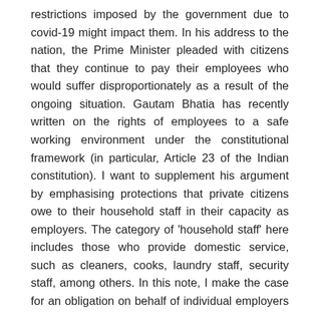restrictions imposed by the government due to covid-19 might impact them. In his address to the nation, the Prime Minister pleaded with citizens that they continue to pay their employees who would suffer disproportionately as a result of the ongoing situation. Gautam Bhatia has recently written on the rights of employees to a safe working environment under the constitutional framework (in particular, Article 23 of the Indian constitution). I want to supplement his argument by emphasising protections that private citizens owe to their household staff in their capacity as employers. The category of 'household staff' here includes those who provide domestic service, such as cleaners, cooks, laundry staff, security staff, among others. In this note, I make the case for an obligation on behalf of individual employers to offer continuing income to their household staff, as a matter of duty, the